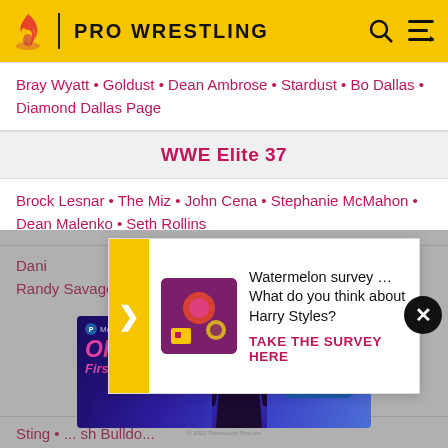PRO WRESTLING
Bray Wyatt • Goldust • Dean Ambrose • Stardust • Bo Dallas • Diamond Dallas Page
WWE Elite 37
Brock Lesnar • The Miz • John Cena • Stephanie McMahon • Dean Malenko • Seth Rollins
Watermelon survey … What do you think about Harry Styles?
TAKE THE SURVEY HERE
Randy Savage • Laarooq • Bradshaw
[Figure (screenshot): Orphan First Kill movie advertisement for Paramount+ streaming service]
Sting • ... • sh Bulldo...
WWE Eli... 38